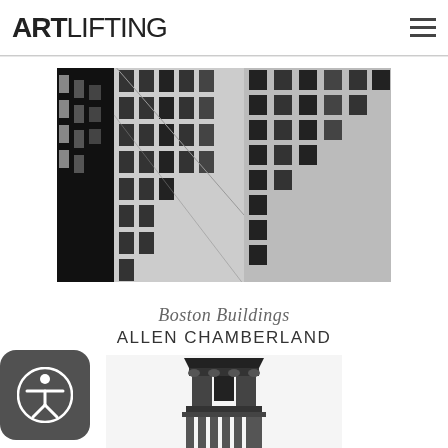ARTLIFTING
[Figure (photo): Black and white high-contrast print of Boston buildings viewed from street level looking up, showing tall urban architecture with detailed facades]
Boston Buildings
ALLEN CHAMBERLAND
[Figure (illustration): Black and white detailed illustration of ornate architectural building top/spire with decorative stonework, partial view from below]